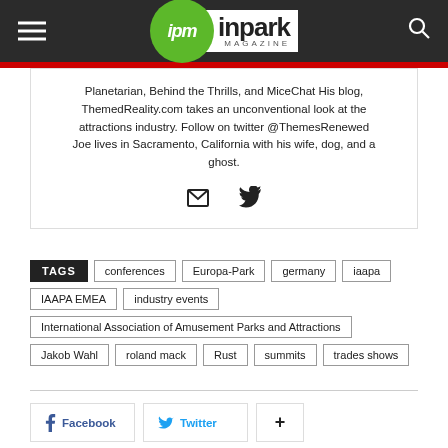ipm inpark MAGAZINE
Planetarian, Behind the Thrills, and MiceChat His blog, ThemedReality.com takes an unconventional look at the attractions industry. Follow on twitter @ThemesRenewed Joe lives in Sacramento, California with his wife, dog, and a ghost.
TAGS conferences Europa-Park germany iaapa IAAPA EMEA industry events International Association of Amusement Parks and Attractions Jakob Wahl roland mack Rust summits trades shows
Facebook Twitter +